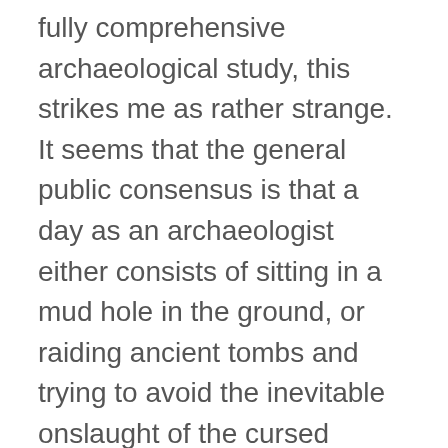fully comprehensive archaeological study, this strikes me as rather strange. It seems that the general public consensus is that a day as an archaeologist either consists of sitting in a mud hole in the ground, or raiding ancient tombs and trying to avoid the inevitable onslaught of the cursed treasure's protector! The fact is that the field has moved on from the days of using dynamite to excavate, as the Victorians did, or other equally inapt techniques (in most cases, anyway), and today it is more diverse than ever before. There are opportunities for: field archaeologists, commercial archaeologists, bioarchaeologists, GIS teams, bio-mathematicians, historical interpreters, heritage workers, maritime archaeologists, archaeological photographers, metal detectorists, post-ex analysts